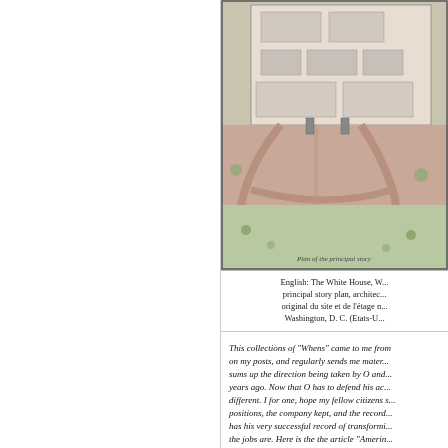[Figure (schematic): Architectural floor plan / site plan of the White House, Washington D.C., showing building footprint, curved driveways, and landscaped grounds. Colored in muted pinks, tans, and greens. Handwritten inscription at bottom reads 'Plan of the principal story'.]
English: The White House, W... principal story plan, architec... original du site et de l'étage n... Washington, D. C. (Etats-U...
This collections of "Whens" came to me from... on my posts, and regularly sends me mater... sums up the direction being taken by O and... years ago. Now that O has to defend his ac... different. I for one, hope my fellow citizens s... positions, the company kept, and the record... has his very successful record of transformi... the jobs are. Here is the the article "Amerin...